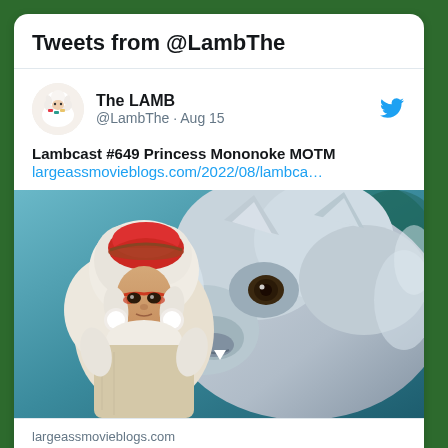Tweets from @LambThe
[Figure (screenshot): Twitter profile avatar showing a cartoon lamb character with colorful accessories]
The LAMB @LambThe · Aug 15
Lambcast #649 Princess Mononoke MOTM largeassmovieblogs.com/2022/08/lambca…
[Figure (illustration): Princess Mononoke anime illustration showing San (Princess Mononoke) with red clay face markings and white fur hood, facing a large white wolf spirit with sharp teeth]
largeassmovieblogs.com
Lambcast #649 Princess Mononoke MOTM